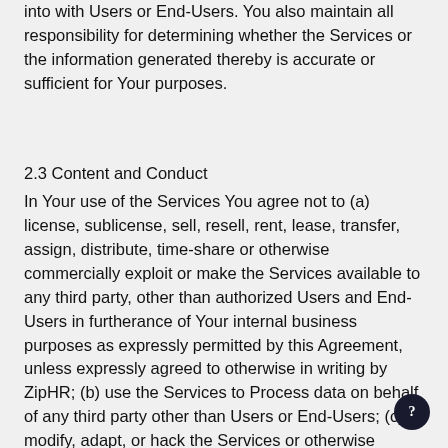into with Users or End-Users. You also maintain all responsibility for determining whether the Services or the information generated thereby is accurate or sufficient for Your purposes.
2.3 Content and Conduct
In Your use of the Services You agree not to (a) license, sublicense, sell, resell, rent, lease, transfer, assign, distribute, time-share or otherwise commercially exploit or make the Services available to any third party, other than authorized Users and End-Users in furtherance of Your internal business purposes as expressly permitted by this Agreement, unless expressly agreed to otherwise in writing by ZipHR; (b) use the Services to Process data on behalf of any third party other than Users or End-Users; (c) modify, adapt, or hack the Services or otherwise attempt to gain unauthorized access to the Services or related systems or networks; (d) falsely imply any sponsorship or association